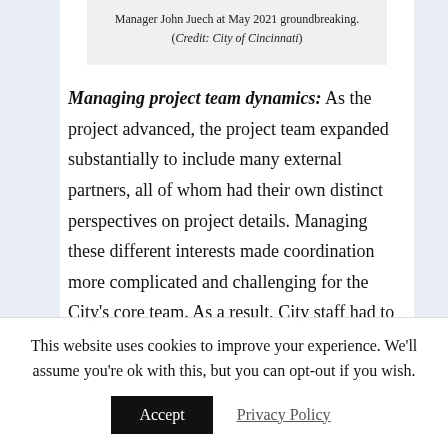Manager John Juech at May 2021 groundbreaking. (Credit: City of Cincinnati)
Managing project team dynamics: As the project advanced, the project team expanded substantially to include many external partners, all of whom had their own distinct perspectives on project details. Managing these different interests made coordination more complicated and challenging for the City's core team. As a result, City staff had to
This website uses cookies to improve your experience. We'll assume you're ok with this, but you can opt-out if you wish.